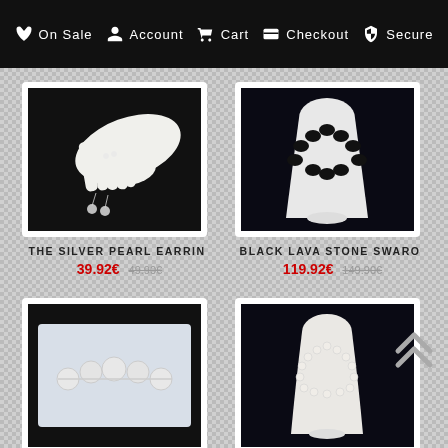On Sale  Account  Cart  Checkout  Secure
[Figure (photo): Pearl drop earrings on a white mannequin hand against dark background]
THE SILVER PEARL EARRIN
39.92€  49.90€
[Figure (photo): Black lava stone necklace on white bust display against dark background]
BLACK LAVA STONE SWARO
119.92€  149.90€
[Figure (photo): White pearl necklace with large round pearls on white display]
WHITE PEARL - PURE AN
[Figure (photo): Pearl moon necklace on white bust display]